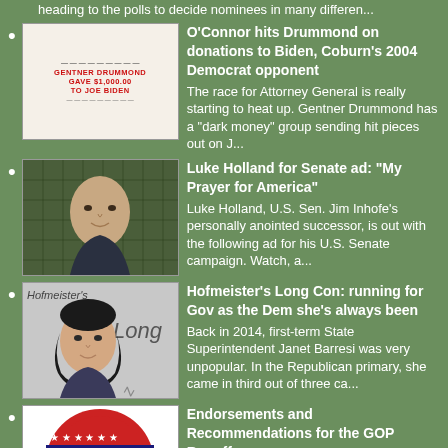heading to the polls to decide nominees in many differen...
O'Connor hits Drummond on donations to Biden, Coburn's 2004 Democrat opponent
The race for Attorney General is really starting to heat up. Gentner Drummond has a "dark money" group sending hit pieces out on J...
Luke Holland for Senate ad: "My Prayer for America"
Luke Holland, U.S. Sen. Jim Inhofe's personally anointed successor, is out with the following ad for his U.S. Senate campaign. Watch, a...
Hofmeister's Long Con: running for Gov as the Dem she's always been
Back in 2014, first-term State Superintendent Janet Barresi was very unpopular. In the Republican primary, she came in third out of three ca...
Endorsements and Recommendations for the GOP Runoff
Tuesday is the Oklahoma Runoff Election, and voters all across the state will be heading to the polls to decide nominees in many different